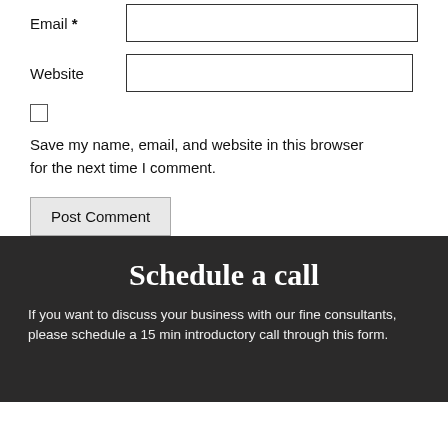Email *
Website
Save my name, email, and website in this browser for the next time I comment.
Post Comment
Schedule a call
If you want to discuss your business with our fine consultants, please schedule a 15 min introductory call through this form.